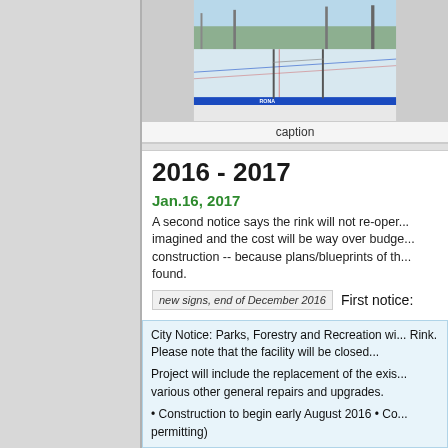[Figure (photo): Outdoor ice rink with blue boards, volleyball net posts, RONA signage visible on boards, trees and light poles in background, clear sky]
caption
2016 - 2017
Jan.16, 2017
A second notice says the rink will not re-oper... imagined and the cost will be way over budge... construction -- because plans/blueprints of th... found.
new signs, end of December 2016
First notice:
City Notice: Parks, Forestry and Recreation wi... Rink. Please note that the facility will be closed...

Project will include the replacement of the exis... various other general repairs and upgrades.

• Construction to begin early August 2016 • Co... permitting)